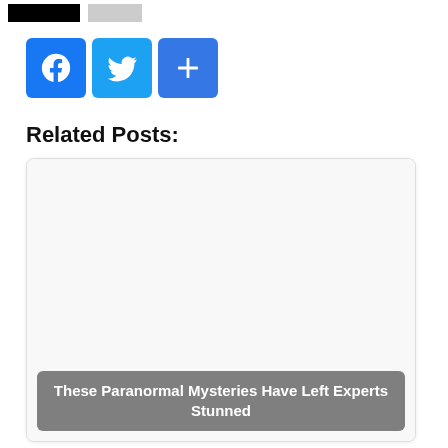[Figure (screenshot): Redacted/blurred header navigation bar with two blocks (black and gray)]
[Figure (infographic): Social sharing buttons: Facebook (blue f), Twitter (blue bird), and a blue plus/share button]
Related Posts:
[Figure (screenshot): Card with blank image area and a dark gray overlay caption reading 'These Paranormal Mysteries Have Left Experts Stunned']
These Paranormal Mysteries Have Left Experts Stunned
[Figure (screenshot): Second related post card with blank/white image area, partially visible at bottom]